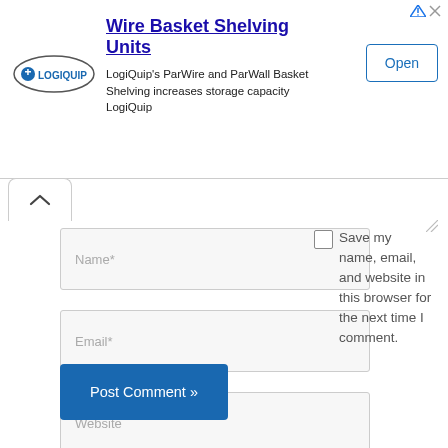[Figure (infographic): LogiQuip advertisement banner for Wire Basket Shelving Units with logo, description text, and Open button]
Wire Basket Shelving Units
LogiQuip's ParWire and ParWall Basket Shelving increases storage capacity LogiQuip
Name*
Email*
Website
Save my name, email, and website in this browser for the next time I comment.
Post Comment »